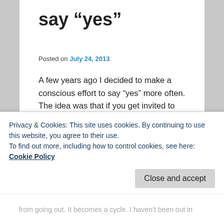say “yes”
Posted on July 24, 2013
A few years ago I decided to make a conscious effort to say “yes” more often. The idea was that if you get invited to somethings and you say, “aww, I can’t,” or give one of those “maybes” that really mean “nah, I’ll most likely cancel at the last-minute,” then after a while, you stop getting those invitations and one day you are sitting at your desk at 7:00pm on a Friday night wondering why you are alone.
Privacy & Cookies: This site uses cookies. By continuing to use this website, you agree to their use. To find out more, including how to control cookies, see here: Cookie Policy
from going out. It becomes a cycle. I haven’t been out in